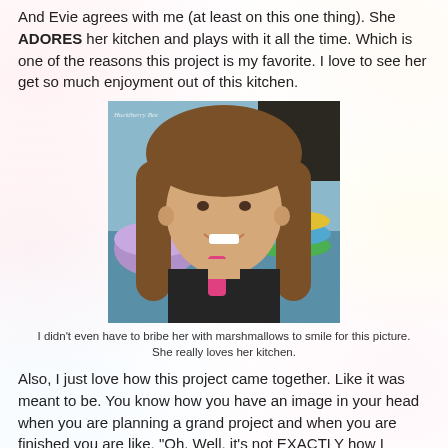And Evie agrees with me (at least on this one thing). She ADORES her kitchen and plays with it all the time. Which is one of the reasons this project is my favorite. I love to see her get so much enjoyment out of this kitchen.
[Figure (photo): A smiling young girl with long brown hair, sitting near colorful play kitchen items including a purple bowl and colorful plates. She is wearing a dark shirt and smiling broadly at the camera. Watermark text visible in upper left corner.]
I didn't even have to bribe her with marshmallows to smile for this picture. She really loves her kitchen.
Also, I just love how this project came together. Like it was meant to be. You know how you have an image in your head when you are planning a grand project and when you are finished you are like, "Oh. Well, it's not EXACTLY how I envisioned it, but I still really like it." Maybe that just happens